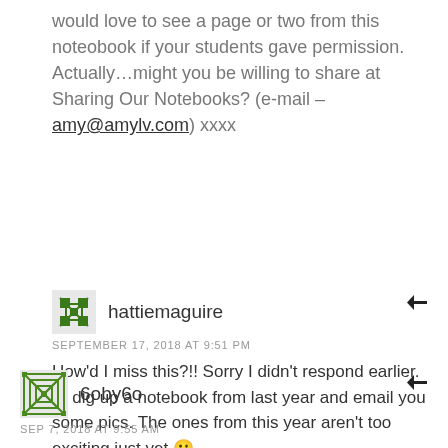would love to see a page or two from this noteobook if your students gave permission. Actually…might you be willing to share at Sharing Our Notebooks? (e-mail – amy@amylv.com) xxxx
hattiemaguire
SEPTEMBER 17, 2018 AT 9:51 PM
How'd I miss this?!! Sorry I didn't respond earlier. I'll dig up a notebook from last year and email you some pics. The ones from this year aren't too exciting just yet 🙂
6oby6o
SEP 7, 2018 AT 9:55 AM
Great idea! I'm going to start doing this